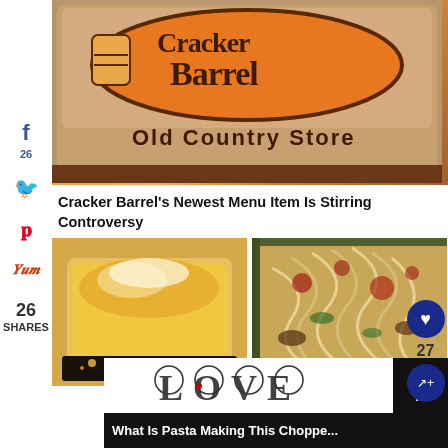[Figure (photo): Cracker Barrel Old Country Store sign with orange barrel logo]
Cracker Barrel's Newest Menu Item Is Stirring Controversy
[Figure (photo): Two food photos side by side: cornbread on the left, pasta dish on the right]
26
26 SHARES
27
[Figure (photo): Advertisement overlay with stylized LOVE text]
What Is Pasta Making This Choppe...